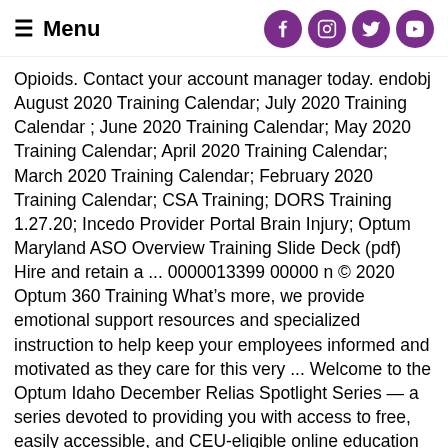Menu
Opioids. Contact your account manager today. endobj August 2020 Training Calendar; July 2020 Training Calendar ; June 2020 Training Calendar; May 2020 Training Calendar; April 2020 Training Calendar; March 2020 Training Calendar; February 2020 Training Calendar; CSA Training; DORS Training 1.27.20; Incedo Provider Portal Brain Injury; Optum Maryland ASO Overview Training Slide Deck (pdf) Hire and retain a ... 0000013399 00000 n © 2020 Optum 360 Training What's more, we provide emotional support resources and specialized instruction to help keep your employees informed and motivated as they care for this very ... Welcome to the Optum Idaho December Relias Spotlight Series — a series devoted to providing you with access to free, easily accessible, and CEU-eligible online education about topics that are of most importance to behavioral health providers, like you, across the state. Enter the password that accompanies your e-mail. h�bb�cʻ˜ñ1@� �\ � Justin Johnson, Chief Executive 100